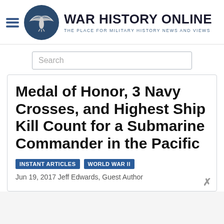WAR HISTORY ONLINE — THE PLACE FOR MILITARY HISTORY NEWS AND VIEWS
Medal of Honor, 3 Navy Crosses, and Highest Ship Kill Count for a Submarine Commander in the Pacific
INSTANT ARTICLES
WORLD WAR II
Jun 19, 2017 Jeff Edwards, Guest Author